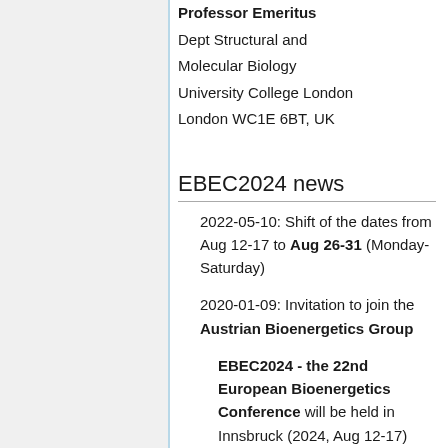Professor Emeritus
Dept Structural and Molecular Biology
University College London
London WC1E 6BT, UK
EBEC2024 news
2022-05-10: Shift of the dates from Aug 12-17 to Aug 26-31 (Monday-Saturday)
2020-01-09: Invitation to join the Austrian Bioenergetics Group
EBEC2024 - the 22nd European Bioenergetics Conference will be held in Innsbruck